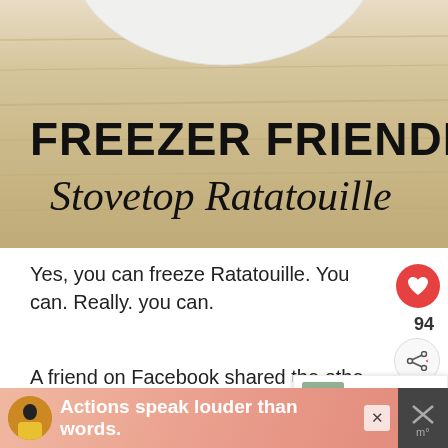[Figure (photo): Wooden board background with a white plate partially visible at top, with bold text overlay reading 'FREEZER FRIENDLY Stovetop Ratatouille']
Yes, you can freeze Ratatouille. You can. Really. you can.
A friend on Facebook shared the othe
[Figure (infographic): Advertisement banner with person in yellow jacket, text 'Actions speak louder than words.' on pink background]